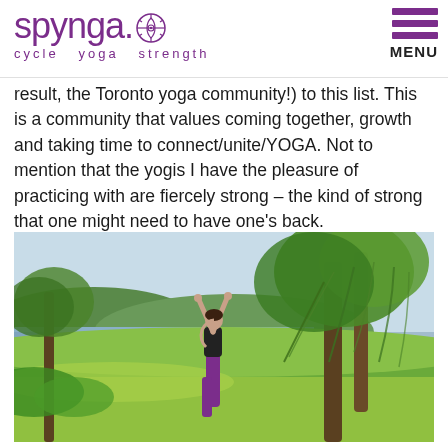spynga. cycle yoga strength
result, the Toronto yoga community!) to this list. This is a community that values coming together, growth and taking time to connect/unite/YOGA. Not to mention that the yogis I have the pleasure of practicing with are fiercely strong – the kind of strong that one might need to have one's back.
[Figure (photo): A woman in purple yoga pants and black sports top performing a backbend yoga pose outdoors near a lake, with large green willow trees in the background and rolling green hills.]